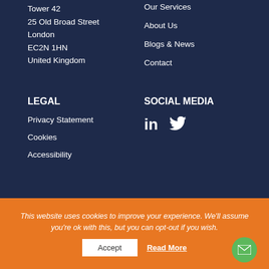Tower 42
25 Old Broad Street
London
EC2N 1HN
United Kingdom
Our Services
About Us
Blogs & News
Contact
LEGAL
Privacy Statement
Cookies
Accessibility
SOCIAL MEDIA
[Figure (illustration): LinkedIn and Twitter social media icons in white]
This website uses cookies to improve your experience. We'll assume you're ok with this, but you can opt-out if you wish.
Accept
Read More